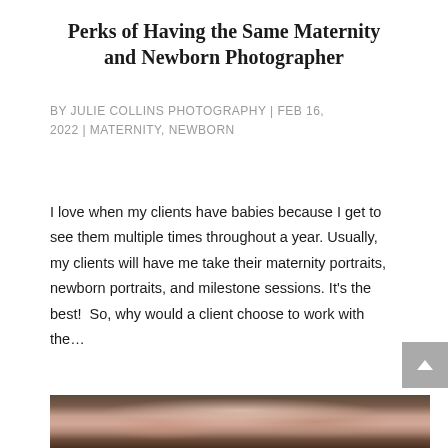Perks of Having the Same Maternity and Newborn Photographer
BY JULIE COLLINS PHOTOGRAPHY | FEB 16, 2022 | MATERNITY, NEWBORN
I love when my clients have babies because I get to see them multiple times throughout a year. Usually, my clients will have me take their maternity portraits, newborn portraits, and milestone sessions. It's the best!  So, why would a client choose to work with the...
[Figure (photo): Close-up photograph of a sleeping newborn baby wearing a floral headband, wrapped in pink knit material, resting on a dark wooden surface]